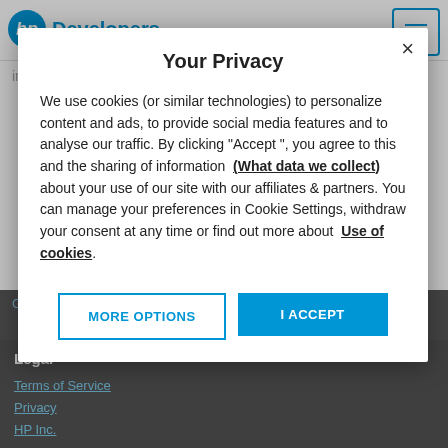[Figure (screenshot): HP Developers website header with blue HP logo and 'Developers' text, menu icon top right]
information on publishing apps.
Ch...
HP Developers and the
Community
Check out [resources] to ask questions, share and let everyone know about your [software] masterpiece.
Your Privacy
We use cookies (or similar technologies) to personalize content and ads, to provide social media features and to analyse our traffic. By clicking "Accept ", you agree to this and the sharing of information (What data we collect) about your use of our site with our affiliates & partners. You can manage your preferences in Cookie Settings, withdraw your consent at any time or find out more about Use of cookies.
MORE OPTIONS
I ACCEPT
Legal
Terms of Service
Privacy
HP Inc.